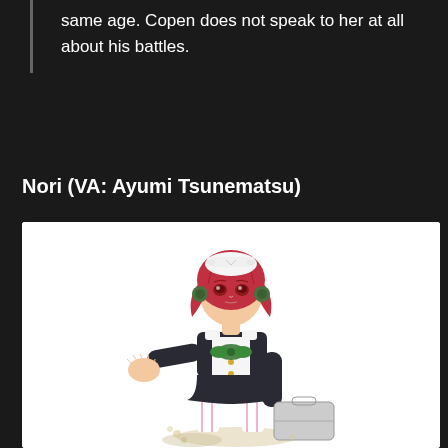same age. Copen does not speak to her at all about his battles.
Nori (VA: Ayumi Tsunematsu)
[Figure (illustration): Anime-style character illustration of Nori, a young woman with red hair wearing a white and black maid-like uniform with a white cap, green bow at chest, gold buttons, and white leggings with pink stripes. She is in a dynamic pose with one hand extended forward and the other holding a large grey case/suitcase. Dust/debris effects at her feet.]